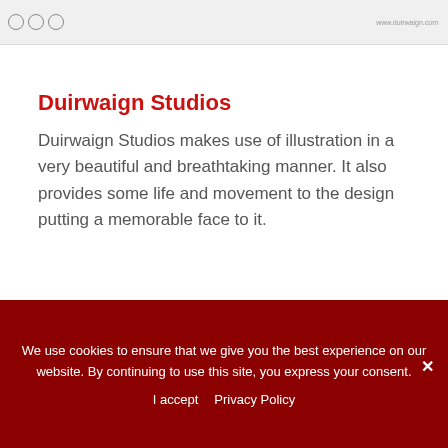Duirwaign Studios
Duirwaign Studios makes use of illustration in a very beautiful and breathtaking manner. It also provides some life and movement to the design putting a memorable face to it.
[Figure (illustration): Colorful fantasy illustration showing Duirwaign Studios artwork with hot air balloon, swans, red curtained stage with heart, sun motif, and ornate decorative elements]
We use cookies to ensure that we give you the best experience on our website. By continuing to use this site, you express your consent.
I accept   Privacy Policy